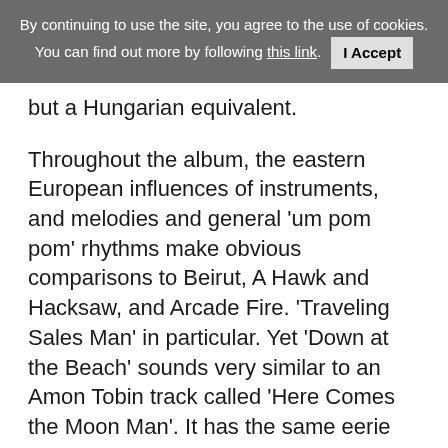By continuing to use the site, you agree to the use of cookies. You can find out more by following this link. I Accept
but a Hungarian equivalent.
Throughout the album, the eastern European influences of instruments, and melodies and general 'um pom pom' rhythms make obvious comparisons to Beirut, A Hawk and Hacksaw, and Arcade Fire. 'Traveling Sales Man' in particular. Yet 'Down at the Beach' sounds very similar to an Amon Tobin track called 'Here Comes the Moon Man'. It has the same eerie presence, sound gaps etc.
My favourite track on the album is a wonderfully quirky and amusing ditty called 'Bird In A Small Cage'. Something about Watson's voice and lyric combo reminds me a great deal of Sufjan Stevens or Leonard Cohen and they don't disappoint with their